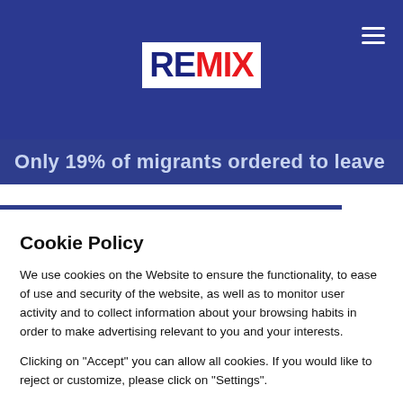REMIX
Only 19% of migrants ordered to leave
Cookie Policy
We use cookies on the Website to ensure the functionality, to ease of use and security of the website, as well as to monitor user activity and to collect information about your browsing habits in order to make advertising relevant to you and your interests.
Clicking on "Accept" you can allow all cookies. If you would like to reject or customize, please click on "Settings".
Read more: Cookie Policy
SETTINGS
ACCEPT